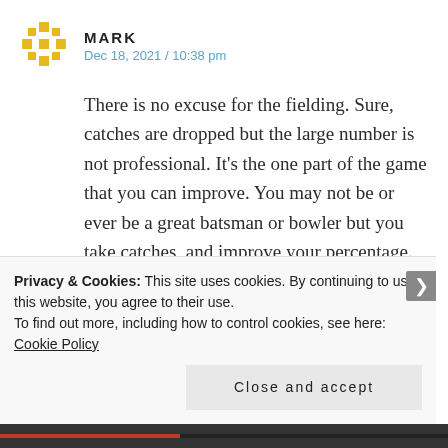[Figure (logo): Yellow geometric star/snowflake avatar icon for user Mark]
MARK
Dec 18, 2021 / 10:38 pm
There is no excuse for the fielding. Sure, catches are dropped but the large number is not professional. It’s the one part of the game that you can improve. You may not be or ever be a great batsman or bowler but you take catches, and improve your percentage.
★ Like
← Reply
Privacy & Cookies: This site uses cookies. By continuing to use this website, you agree to their use.
To find out more, including how to control cookies, see here: Cookie Policy
Close and accept